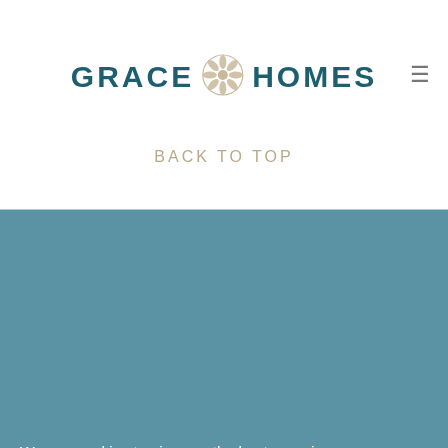[Figure (logo): Grace Homes logo with decorative floral icon between the words GRACE and HOMES in teal/dark blue color]
BACK TO TOP
We use cookies to give you the best experience on our website - if you are happy with this please click acknowledge & accept. Alternatively, you can find more information in our privacy policy.
Acknowledge & Accept